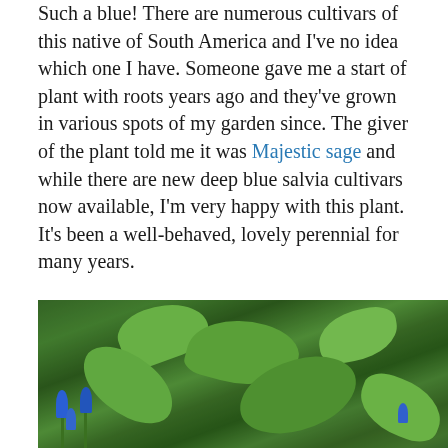Such a blue!  There are numerous cultivars of this native of South America and I've no idea which one I have.  Someone gave me a start of plant with roots years ago and they've grown in various spots of my garden since.  The giver of the plant told me it was Majestic sage and while there are new deep blue salvia cultivars now available, I'm very happy with this plant.  It's been a well-behaved, lovely perennial for many years.
As my back garden becomes shadier, this blue will be the blue that I'll grow.  Most of floriferous blues here in Austin are sun worshipers and some don't work in my sun-limited garden.   Hardy, pollinator-friendly, beautiful, and shade tolerant–what's not to love about it?
[Figure (photo): Photo of green leafy garden plants with blue salvia flowers visible, taken from above at a slight angle.]